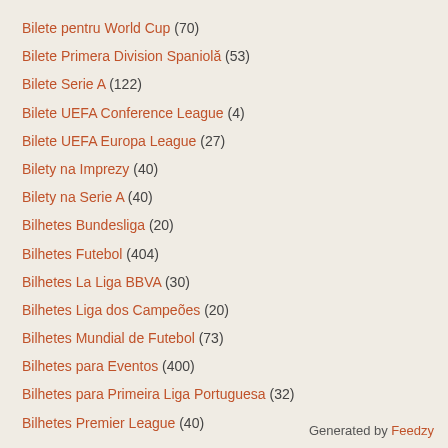Bilete pentru World Cup (70)
Bilete Primera Division Spaniolă (53)
Bilete Serie A (122)
Bilete UEFA Conference League (4)
Bilete UEFA Europa League (27)
Bilety na Imprezy (40)
Bilety na Serie A (40)
Bilhetes Bundesliga (20)
Bilhetes Futebol (404)
Bilhetes La Liga BBVA (30)
Bilhetes Liga dos Campeões (20)
Bilhetes Mundial de Futebol (73)
Bilhetes para Eventos (400)
Bilhetes para Primeira Liga Portuguesa (32)
Bilhetes Premier League (40)
Generated by Feedzy